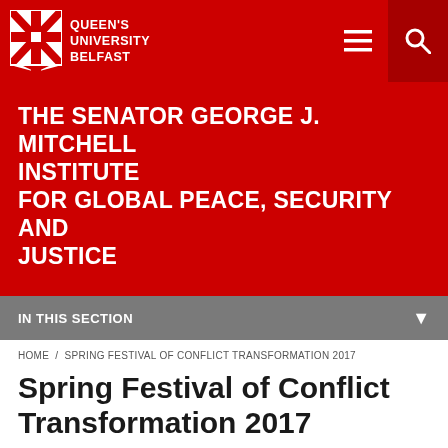[Figure (logo): Queen's University Belfast logo with red shield and white text on red navigation bar]
THE SENATOR GEORGE J. MITCHELL INSTITUTE FOR GLOBAL PEACE, SECURITY AND JUSTICE
IN THIS SECTION
HOME / SPRING FESTIVAL OF CONFLICT TRANSFORMATION 2017
Spring Festival of Conflict Transformation 2017
← Back to events
The Harri Holkeri Lecture by